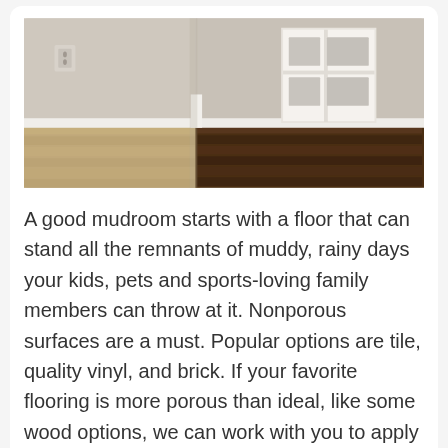[Figure (photo): Interior mudroom corner showing light wood plank flooring on the left transitioning to dark hardwood flooring on the right, with white painted walls, white baseboards, and a white built-in shelving unit with two rectangular cubby openings. An electrical outlet is visible on the left wall.]
A good mudroom starts with a floor that can stand all the remnants of muddy, rainy days your kids, pets and sports-loving family members can throw at it. Nonporous surfaces are a must. Popular options are tile, quality vinyl, and brick. If your favorite flooring is more porous than ideal, like some wood options, we can work with you to apply the proper sealant.